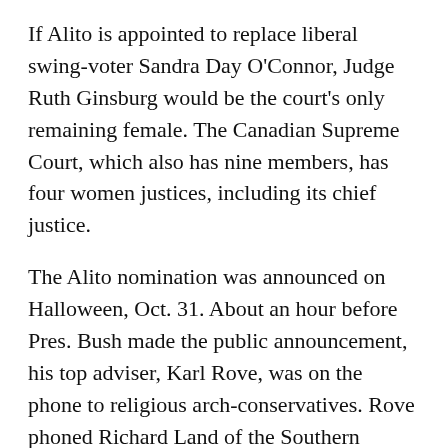If Alito is appointed to replace liberal swing-voter Sandra Day O'Connor, Judge Ruth Ginsburg would be the court's only remaining female. The Canadian Supreme Court, which also has nine members, has four women justices, including its chief justice.
The Alito nomination was announced on Halloween, Oct. 31. About an hour before Pres. Bush made the public announcement, his top adviser, Karl Rove, was on the phone to religious arch-conservatives. Rove phoned Richard Land of the Southern Baptist Convention from a mobile phone in an airport. About the same time, Ed Gillespie, former chair of the Republican Party, phoned Paul Weyrich, a religious-right organizer, and a Rove aide called Rev. Jerry Falwell.
By midmorning, Jay Sekulow, chief counsel of the American Center for Law and Justice, Pat Robertson's